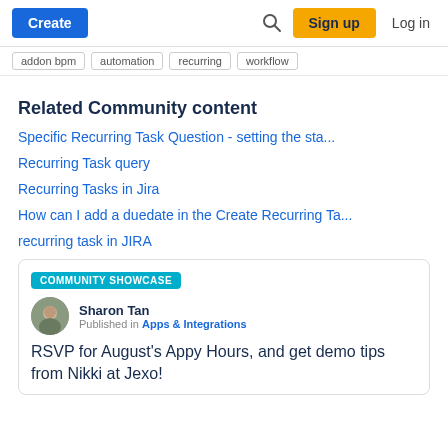Create  Sign up  Log in
addon bpm  automation  recurring  workflow
Related Community content
Specific Recurring Task Question - setting the sta...
Recurring Task query
Recurring Tasks in Jira
How can I add a duedate in the Create Recurring Ta...
recurring task in JIRA
COMMUNITY SHOWCASE
Sharon Tan
Published in Apps & Integrations
RSVP for August's Appy Hours, and get demo tips from Nikki at Jexo!